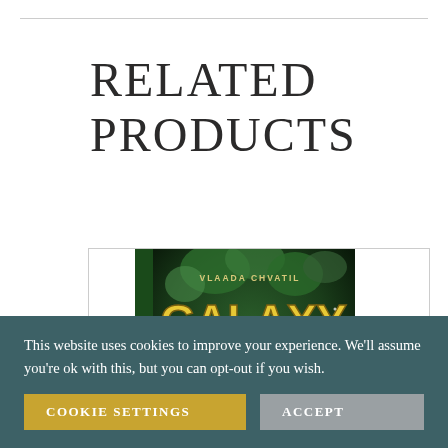RELATED PRODUCTS
[Figure (photo): Box cover of the board game 'Galaxy Trucker' by Vlaada Chvatil, showing colorful stylized text and alien imagery on a dark green background.]
This website uses cookies to improve your experience. We'll assume you're ok with this, but you can opt-out if you wish.
COOKIE SETTINGS
ACCEPT